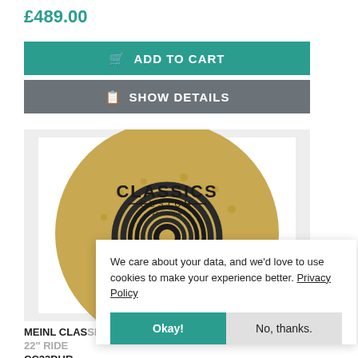£489.00
ADD TO CART
SHOW DETAILS
[Figure (photo): Meinl Classics Custom Dual 22 inch cymbal product photo showing a golden cymbal with CLASSICS CUSTOM branding and dark concentric ring pattern in the center]
We care about your data, and we'd love to use cookies to make your experience better. Privacy Policy
Okay!
No, thanks.
MEINL CLASSICS CUSTOM DUAL 22" RIDE CC22DUR